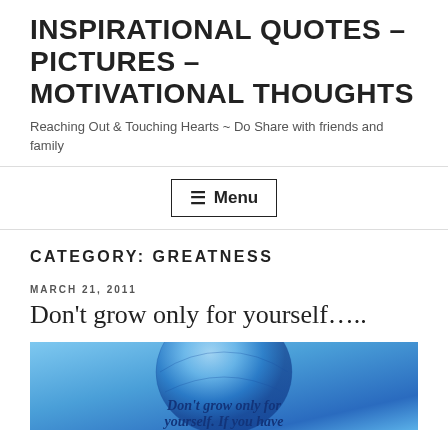INSPIRATIONAL QUOTES – PICTURES – MOTIVATIONAL THOUGHTS
Reaching Out & Touching Hearts ~ Do Share with friends and family
☰ Menu
CATEGORY: GREATNESS
MARCH 21, 2011
Don't grow only for yourself…..
[Figure (photo): Blue globe image with text overlay reading 'Don't grow only for yourself. If you have']